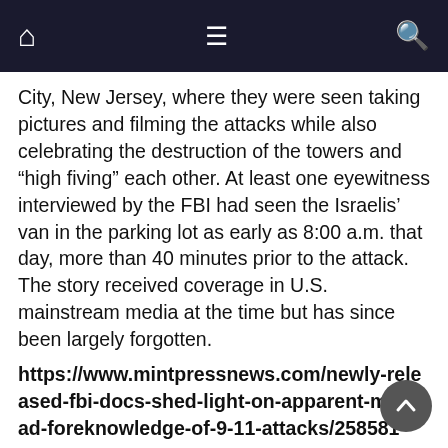Navigation bar with home, menu, and search icons
City, New Jersey, where they were seen taking pictures and filming the attacks while also celebrating the destruction of the towers and “high fiving” each other. At least one eyewitness interviewed by the FBI had seen the Israelis’ van in the parking lot as early as 8:00 a.m. that day, more than 40 minutes prior to the attack. The story received coverage in U.S. mainstream media at the time but has since been largely forgotten.
https://www.mintpressnews.com/newly-released-fbi-docs-shed-light-on-apparent-mossad-foreknowledge-of-9-11-attacks/258581
If You Find EarthNewspaper.com Informative, Please Make A Contribution
Donate today and support the work I do seven days a week. Each day I publish more than a dozen news articles and videos, from honest, independent and reliable sources, on a